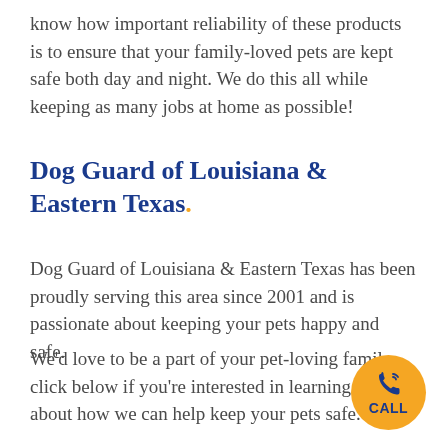know how important reliability of these products is to ensure that your family-loved pets are kept safe both day and night. We do this all while keeping as many jobs at home as possible!
Dog Guard of Louisiana & Eastern Texas.
Dog Guard of Louisiana & Eastern Texas has been proudly serving this area since 2001 and is passionate about keeping your pets happy and safe.
We'd love to be a part of your pet-loving family, click below if you're interested in learning more about how we can help keep your pets safe.
[Figure (other): Yellow circular call button with phone icon and text CALL in blue]